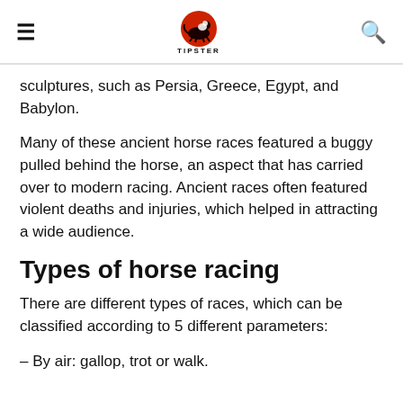TIPSTER
sculptures, such as Persia, Greece, Egypt, and Babylon.
Many of these ancient horse races featured a buggy pulled behind the horse, an aspect that has carried over to modern racing. Ancient races often featured violent deaths and injuries, which helped in attracting a wide audience.
Types of horse racing
There are different types of races, which can be classified according to 5 different parameters:
– By air: gallop, trot or walk.